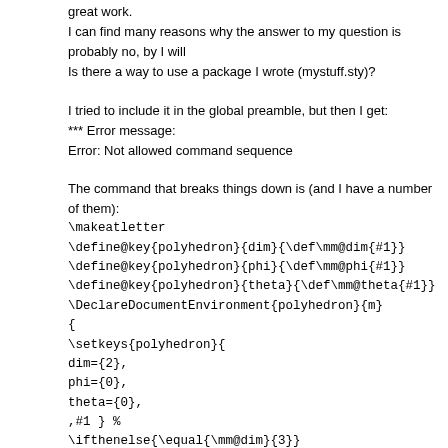great work.
I can find many reasons why the answer to my question is probably no, by I will
Is there a way to use a package I wrote (mystuff.sty)?
I tried to include it in the global preamble, but then I get:
*** Error message:
Error: Not allowed command sequence
The command that breaks things down is (and I have a number of them):
\makeatletter
\define@key{polyhedron}{dim}{\def\mm@dim{#1}}
\define@key{polyhedron}{phi}{\def\mm@phi{#1}}
\define@key{polyhedron}{theta}{\def\mm@theta{#1}}
\DeclareDocumentEnvironment{polyhedron}{m}
{
\setkeys{polyhedron}{
dim={2},
phi={0},
theta={0},
,#1 } %
\ifthenelse{\equal{\mm@dim}{3}}
{
\tdplotsetmaincoords{\mm@phi}{\mm@theta}
\begin{tikzpicture}[scale=\PolyhedraDefaultScale,tdplot_main_coords]
}{